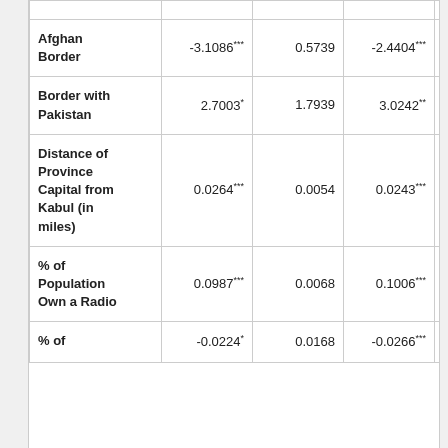| Afghan Border | -3.1086*** | 0.5739 | -2.4404*** | 0.5491 |
| Border with Pakistan | 2.7003* | 1.7939 | 3.0242** | 1.4465 |
| Distance of Province Capital from Kabul (in miles) | 0.0264*** | 0.0054 | 0.0243*** | 0.0044 |
| % of Population Own a Radio | 0.0987*** | 0.0068 | 0.1006*** | 0.0181 |
| % of | -0.0224* | 0.0168 | -0.0266*** | 0.0115 |